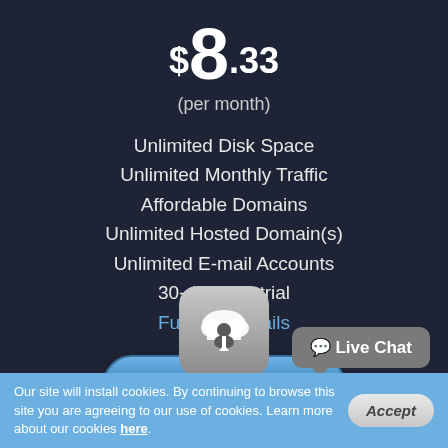$8.33
(per month)
Unlimited Disk Space
Unlimited Monthly Traffic
Affordable Domains
Unlimited Hosted Domain(s)
Unlimited E-mail Accounts
30-day free trial
Full plan details
Start Free Trial
[Figure (illustration): Cloud hosting icon with person figure inside a rounded square app icon]
Live Chat
Our site will install cookies. By continuing to browse this site you are agreeing to our use of cookies. Learn more about our cookies here.